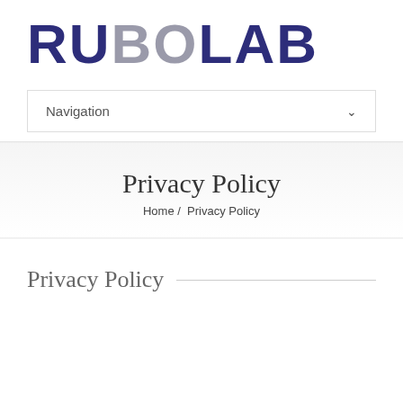[Figure (logo): RUBOLAB logo in large bold text, 'RU' and 'LAB' in dark navy/purple, 'BO' in gray]
Navigation
Privacy Policy
Home /  Privacy Policy
Privacy Policy